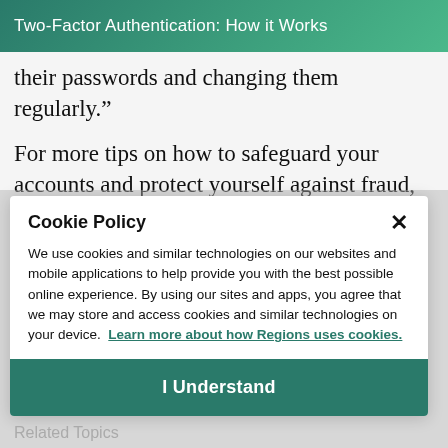Two-Factor Authentication: How it Works
their passwords and changing them regularly.”
For more tips on how to safeguard your accounts and protect yourself against fraud, visit regions.com/fraudprevention
Cookie Policy
We use cookies and similar technologies on our websites and mobile applications to help provide you with the best possible online experience. By using our sites and apps, you agree that we may store and access cookies and similar technologies on your device. Learn more about how Regions uses cookies.
I Understand
Related Topics